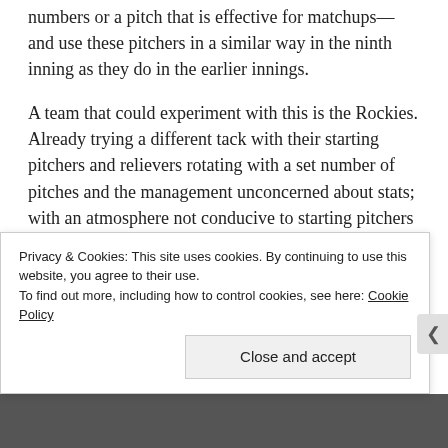numbers or a pitch that is effective for matchups—and use these pitchers in a similar way in the ninth inning as they do in the earlier innings.
A team that could experiment with this is the Rockies. Already trying a different tack with their starting pitchers and relievers rotating with a set number of pitches and the management unconcerned about stats; with an atmosphere not conducive to starting pitchers being successful; and a closer, Rafael Betancourt, that is in the role just because he's there and not because he's got a long history of doing the
Privacy & Cookies: This site uses cookies. By continuing to use this website, you agree to their use. To find out more, including how to control cookies, see here: Cookie Policy
Close and accept